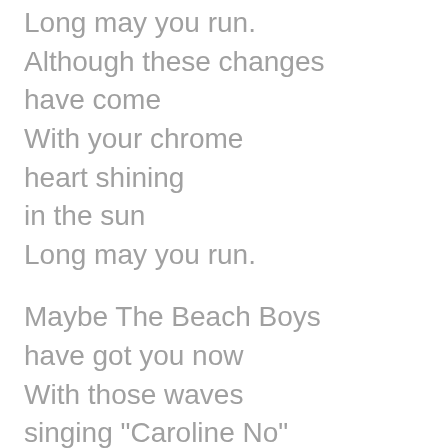Long may you run.
Although these changes have come
With your chrome heart shining
in the sun
Long may you run.
Maybe The Beach Boys have got you now
With those waves singing "Caroline No"
Rollin' down that empty ocean road
Gettin' to the surf on time.
Long may you run.
Long may you run.
Although these changes have come
With your chrome